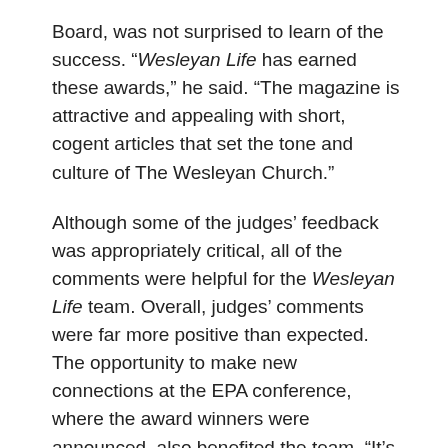Board, was not surprised to learn of the success. “Wesleyan Life has earned these awards,” he said. “The magazine is attractive and appealing with short, cogent articles that set the tone and culture of The Wesleyan Church.”
Although some of the judges’ feedback was appropriately critical, all of the comments were helpful for the Wesleyan Life team. Overall, judges’ comments were far more positive than expected. The opportunity to make new connections at the EPA conference, where the award winners were announced, also benefited the team. “It’s not just for the competition, but also the conference and networking is highly beneficial,” Kind said.